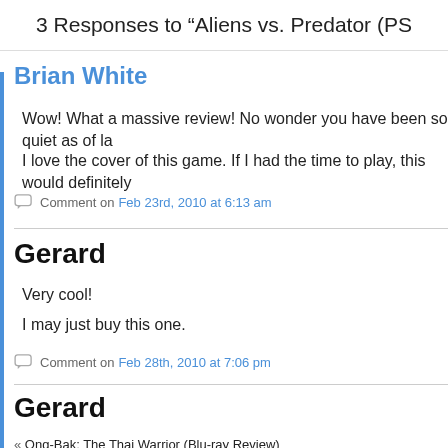3 Responses to “Aliens vs. Predator (PS
Brian White
Wow! What a massive review! No wonder you have been so quiet as of la
I love the cover of this game. If I had the time to play, this would definitely
Comment on Feb 23rd, 2010 at 6:13 am
Gerard
Very cool!
I may just buy this one.
Comment on Feb 28th, 2010 at 7:06 pm
Gerard
Okay, this is in my Amazon shopping cart. I'll wait a bit until the time is rig
Comment on Feb 28th, 2010 at 11:51 pm
« Ong-Bak: The Thai Warrior (Blu-ray Review)